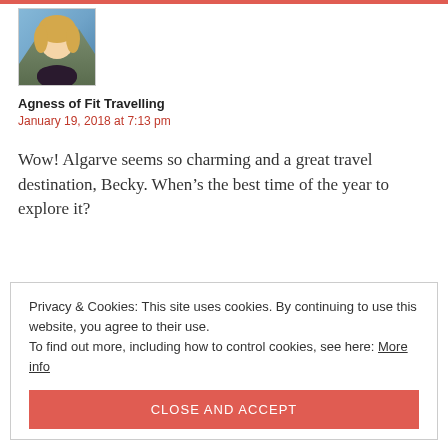[Figure (photo): Profile photo of a blonde woman outdoors with mountains in background]
Agness of Fit Travelling
January 19, 2018 at 7:13 pm
Wow! Algarve seems so charming and a great travel destination, Becky. When’s the best time of the year to explore it?
Privacy & Cookies: This site uses cookies. By continuing to use this website, you agree to their use.
To find out more, including how to control cookies, see here: More info
CLOSE AND ACCEPT